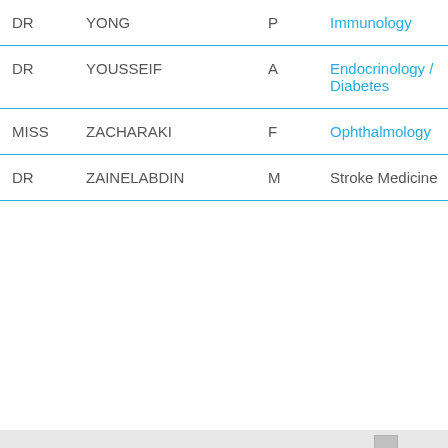| Title | Last Name | Initial | Specialty |
| --- | --- | --- | --- |
| DR | YONG | P | Immunology |
| DR | YOUSSEIF | A | Endocrinology / Diabetes |
| MISS | ZACHARAKI | F | Ophthalmology |
| DR | ZAINELABDIN | M | Stroke Medicine |
This website uses cookies to ensure you get the best experience on our website. Cookies Policy
Privacy Policy
Decline | Allow cookies
Our Services